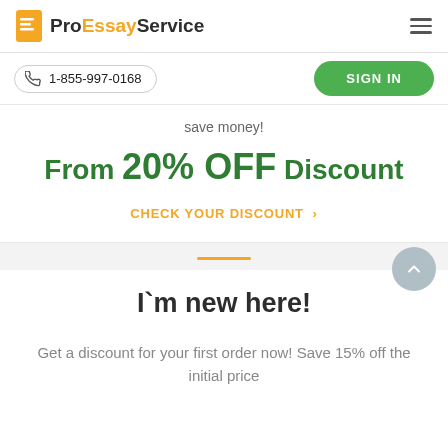Pro Essay Service
1-855-997-0168
SIGN IN
save money!
From 20% OFF Discount
CHECK YOUR DISCOUNT ›
I`m new here!
Get a discount for your first order now! Save 15% off the initial price